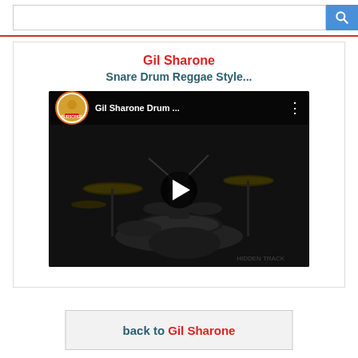[Figure (screenshot): Search bar with blue search button at top of page]
Gil Sharone
Snare Drum Reggae Style...
[Figure (screenshot): YouTube video thumbnail showing Gil Sharone Drum ... with subscribe button, play button, and drummer performing at drum kit in dark setting]
back to Gil Sharone